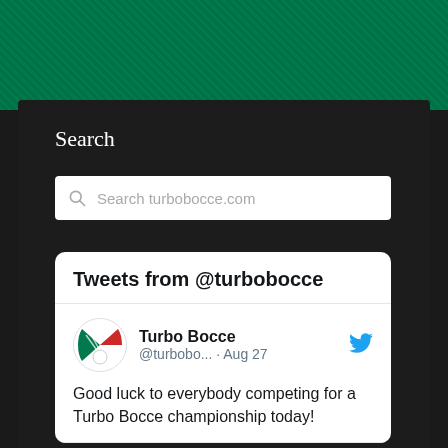[Figure (screenshot): Green textured header banner at the top of the page]
Search
[Figure (screenshot): Search input box with placeholder text 'Search turbobocce.com' and a magnifying glass icon]
[Figure (screenshot): Twitter widget card showing tweets from @turbobocce, with user Turbo Bocce (@turbobo...) posting on Aug 27: 'Good luck to everybody competing for a Turbo Bocce championship today!']